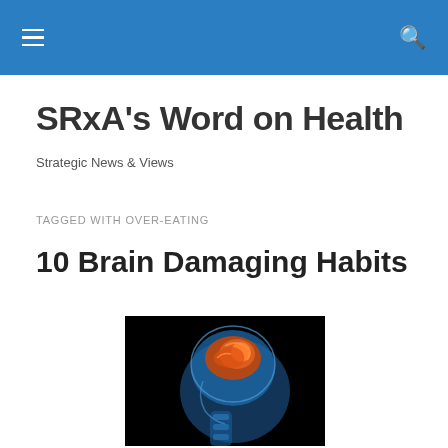SRxA's Word on Health — Strategic News & Views
SRxA's Word on Health
Strategic News & Views
TAGGED WITH OVER-EATING
10 Brain Damaging Habits
[Figure (photo): Medical illustration of a human head in profile showing the brain highlighted in orange/red tones against a blue transparent skeletal/anatomical rendering, on a black background.]